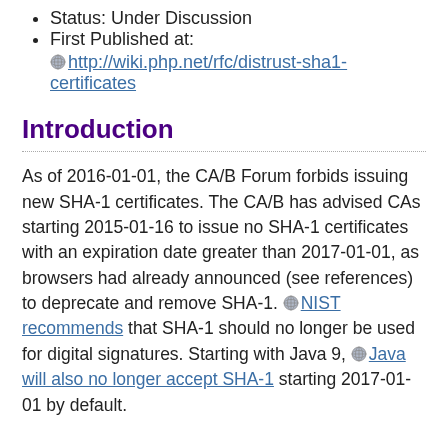Status: Under Discussion
First Published at: http://wiki.php.net/rfc/distrust-sha1-certificates
Introduction
As of 2016-01-01, the CA/B Forum forbids issuing new SHA-1 certificates. The CA/B has advised CAs starting 2015-01-16 to issue no SHA-1 certificates with an expiration date greater than 2017-01-01, as browsers had already announced (see references) to deprecate and remove SHA-1. NIST recommends that SHA-1 should no longer be used for digital signatures. Starting with Java 9, Java will also no longer accept SHA-1 starting 2017-01-01 by default.